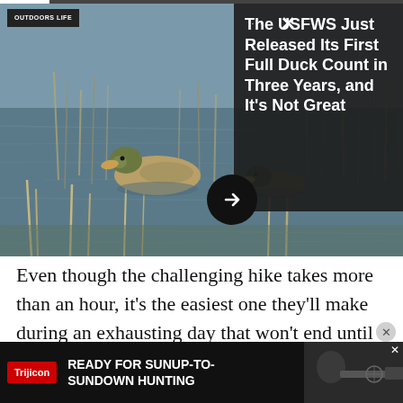[Figure (photo): Two ducks floating on shallow water with reeds/marsh grass in background. Outdoor Life logo overlay, progress bar at top, three-dot menu and X close button visible. Dark overlay panel top-right with article title and arrow navigation button.]
The USFWS Just Released Its First Full Duck Count in Three Years, and It's Not Great
Even though the challenging hike takes more than an hour, it's the easiest one they'll make during an exhausting day that won't end until long after dark. In fact, the group's members will forge their way through the mountains from dawn till dusk for three days straight, clinging to sheer hillsides, working their way through
[Figure (screenshot): Trijicon advertisement banner: red Trijicon logo on left, white bold text 'READY FOR SUNUP-TO-SUNDOWN HUNTING', image of hunter with rifle scope on right. Blue X close button top right of ad.]